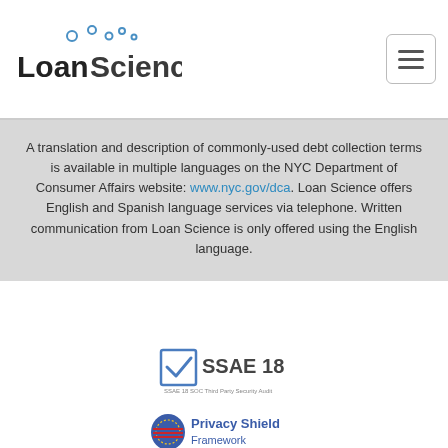[Figure (logo): Loan Science logo with bubble circles above text]
A translation and description of commonly-used debt collection terms is available in multiple languages on the NYC Department of Consumer Affairs website: www.nyc.gov/dca. Loan Science offers English and Spanish language services via telephone. Written communication from Loan Science is only offered using the English language.
[Figure (logo): SSAE 18 SOC Third Party Security Audit badge with checkmark]
[Figure (logo): Privacy Shield Framework logo with star circle icon]
[Figure (logo): FedRAMP logo with shield and stripe icon]
[Figure (logo): Verified badge with gear border and checkmark]